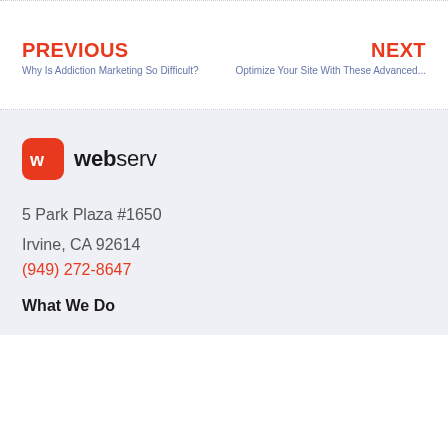PREVIOUS
Why Is Addiction Marketing So Difficult?
NEXT
Optimize Your Site With These Advanced...
[Figure (logo): Webserv logo: red rounded square with white 'w' icon followed by 'webserv' text in bold/regular]
5 Park Plaza #1650
Irvine, CA 92614
(949) 272-8647
What We Do